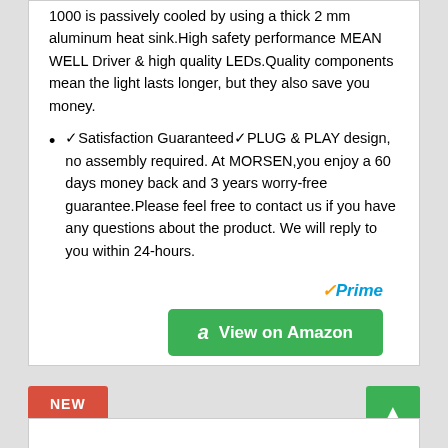1000 is passively cooled by using a thick 2 mm aluminum heat sink.High safety performance MEAN WELL Driver & high quality LEDs.Quality components mean the light lasts longer, but they also save you money.
✓Satisfaction Guaranteed✓PLUG & PLAY design, no assembly required. At MORSEN,you enjoy a 60 days money back and 3 years worry-free guarantee.Please feel free to contact us if you have any questions about the product. We will reply to you within 24-hours.
[Figure (logo): Amazon Prime logo with checkmark and 'Prime' text in blue italic]
[Figure (other): Green 'View on Amazon' button with Amazon 'a' logo icon]
NEW